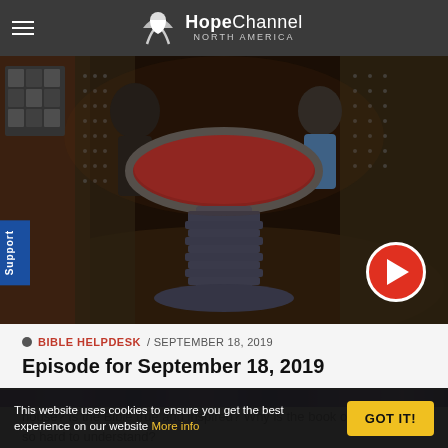HopeChannel NORTH AMERICA
[Figure (screenshot): Studio scene showing people seated around a circular table with a red top in what appears to be a TV studio. Dark paneled walls with decorative elements visible.]
BIBLE HELPDESK / SEPTEMBER 18, 2019
Episode for September 18, 2019
Can you be angry and not sin? Is the soul of my dead husband in my house? Is the Bible true and inspired? Why is the book of Revelation so hard to understand?
[Figure (screenshot): Bottom strip showing what appears to be a purple-toned TV studio image, partially cut off.]
This website uses cookies to ensure you get the best experience on our website More info